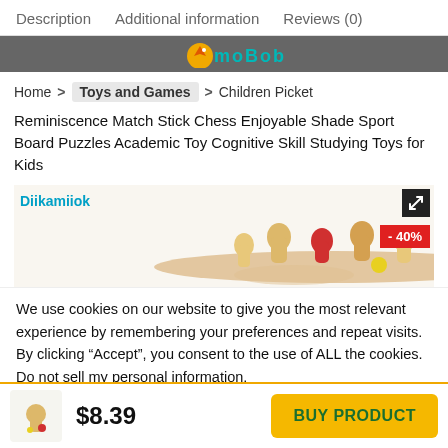Description   Additional information   Reviews (0)
[Figure (logo): Website logo bar with stylized bird icon and teal 'moBob' text on dark grey background]
Home > Toys and Games > Children Picket
Reminiscence Match Stick Chess Enjoyable Shade Sport Board Puzzles Academic Toy Cognitive Skill Studying Toys for Kids
[Figure (photo): Wooden peg doll figures on a board with one red and one yellow piece, brand label 'Diikamiiok' in teal, expand icon top right, -40% discount badge in red]
We use cookies on our website to give you the most relevant experience by remembering your preferences and repeat visits. By clicking “Accept”, you consent to the use of ALL the cookies. Do not sell my personal information.
$8.39
BUY PRODUCT